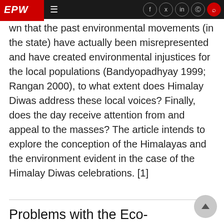EPW
wn that the past environmental movements (in the state) have actually been misrepresented and have created environmental injustices for the local populations (Bandyopadhyay 1999; Rangan 2000), to what extent does Himalay Diwas address these local voices? Finally, does the day receive attention from and appeal to the masses? The article intends to explore the conception of the Himalayas and the environment evident in the case of the Himalay Diwas celebrations. [1]
Read more
Problems with the Eco-